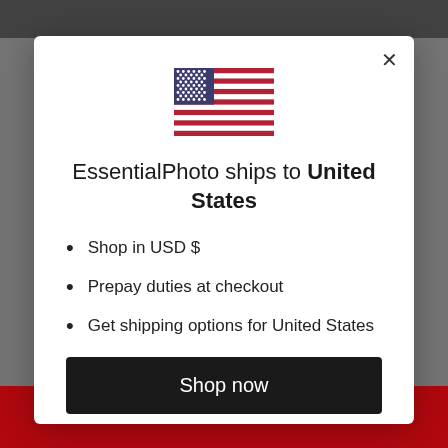[Figure (screenshot): Modal dialog on a website. Shows a US flag icon, heading 'EssentialPhoto ships to United States', bullet points listing USD shopping, prepay duties, and shipping options, a black 'Shop now' button, and a 'Change shipping country' link.]
EssentialPhoto ships to United States
Shop in USD $
Prepay duties at checkout
Get shipping options for United States
Shop now
Change shipping country